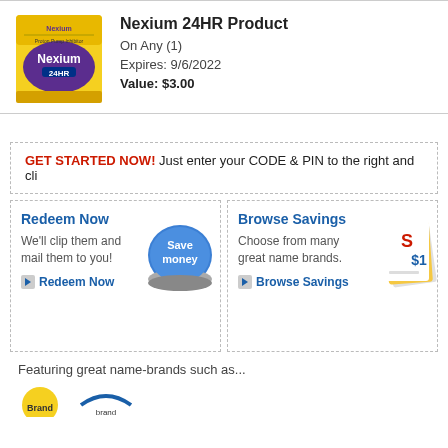[Figure (photo): Nexium 24HR product box — yellow and purple packaging]
Nexium 24HR Product
On Any (1)
Expires: 9/6/2022
Value: $3.00
GET STARTED NOW! Just enter your CODE & PIN to the right and cli
Redeem Now
We'll clip them and mail them to you!
Redeem Now
[Figure (photo): Blue 'Save money' button]
Browse Savings
Choose from many great name brands.
Browse Savings
[Figure (photo): Stack of coupons/savings booklets]
Featuring great name-brands such as...
[Figure (logo): Brand logos at bottom (partially visible)]